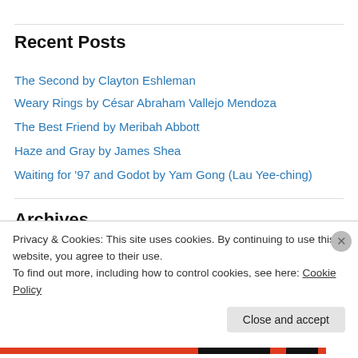Recent Posts
The Second by Clayton Eshleman
Weary Rings by César Abraham Vallejo Mendoza
The Best Friend by Meribah Abbott
Haze and Gray by James Shea
Waiting for '97 and Godot by Yam Gong (Lau Yee-ching)
Archives
August 2022
Privacy & Cookies: This site uses cookies. By continuing to use this website, you agree to their use.
To find out more, including how to control cookies, see here: Cookie Policy
Close and accept